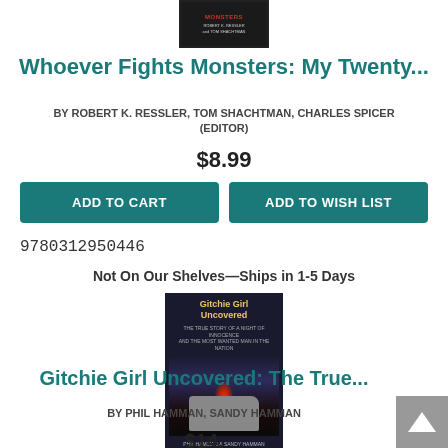[Figure (photo): Top portion of a book cover for 'Whoever Fights Monsters' by Robert K. Ressler and Tom Shachtman, dark background with red title text]
Whoever Fights Monsters: My Twenty...
BY ROBERT K. RESSLER, TOM SHACHTMAN, CHARLES SPICER (EDITOR)
$8.99
ADD TO CART
ADD TO WISH LIST
9780312950446
Not On Our Shelves—Ships in 1-5 Days
[Figure (photo): Book cover for 'Gitchie Girl Uncovered' by Phil Hamman and Sandy Hamman, dark moody cover with van and fire imagery]
Gitchie Girl Uncovered: The True...
BY PHIL HAMMAN, SANDY HAMMAN
$14.99